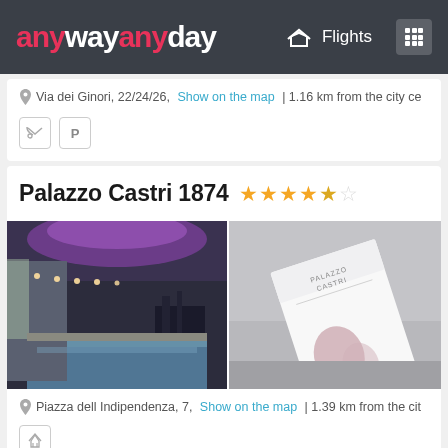anywayanyday — Flights
Via dei Ginori, 22/24/26, Show on the map | 1.16 km from the city ce...
Palazzo Castri 1874 ★★★★☆
[Figure (photo): Hotel indoor pool with purple LED ceiling lighting and fitness equipment in background]
[Figure (photo): Close-up of Palazzo Castri hotel brochure/menu against gray wall]
Piazza dell Indipendenza, 7, Show on the map | 1.39 km from the cit...